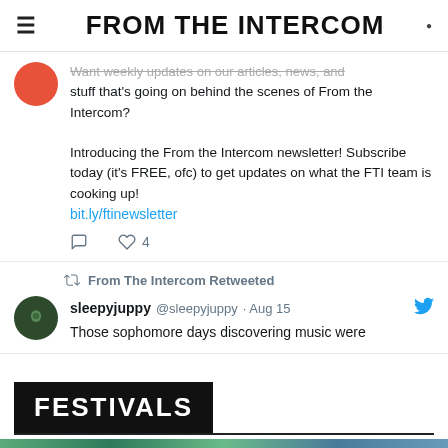FROM THE INTERCOM
Want weekly updates on our articles, news, and stuff that's going on behind the scenes of From the Intercom?

Introducing the From the Intercom newsletter! Subscribe today (it's FREE, ofc) to get updates on what the FTI team is cooking up!
bit.ly/ftinewsletter
From The Intercom Retweeted
sleepyjuppy @sleepyjuppy · Aug 15
Those sophomore days discovering music were